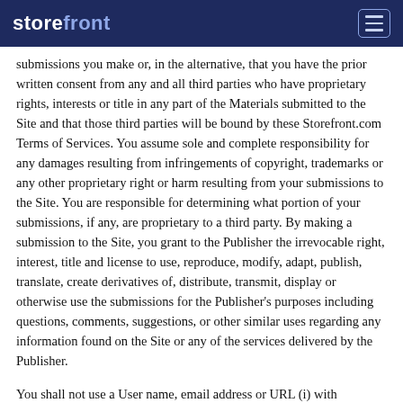storefront
submissions you make or, in the alternative, that you have the prior written consent from any and all third parties who have proprietary rights, interests or title in any part of the Materials submitted to the Site and that those third parties will be bound by these Storefront.com Terms of Services. You assume sole and complete responsibility for any damages resulting from infringements of copyright, trademarks or any other proprietary right or harm resulting from your submissions to the Site. You are responsible for determining what portion of your submissions, if any, are proprietary to a third party. By making a submission to the Site, you grant to the Publisher the irrevocable right, interest, title and license to use, reproduce, modify, adapt, publish, translate, create derivatives of, distribute, transmit, display or otherwise use the submissions for the Publisher's purposes including questions, comments, suggestions, or other similar uses regarding any information found on the Site or any of the services delivered by the Publisher.
You shall not use a User name, email address or URL (i) with